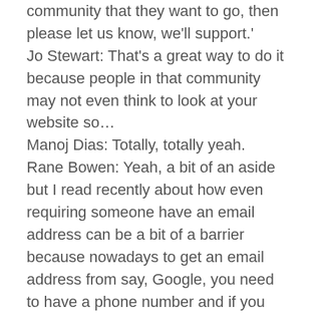community that they want to go, then please let us know, we'll support.' Jo Stewart: That's a great way to do it because people in that community may not even think to look at your website so… Manoj Dias: Totally, totally yeah. Rane Bowen: Yeah, a bit of an aside but I read recently about how even requiring someone have an email address can be a bit of a barrier because nowadays to get an email address from say, Google, you need to have a phone number and if you don't have a mobile phone then … so … yeah. Manoj Dias: Yeah. It's a slippery slope right? Like, and there's arguments for and against, but